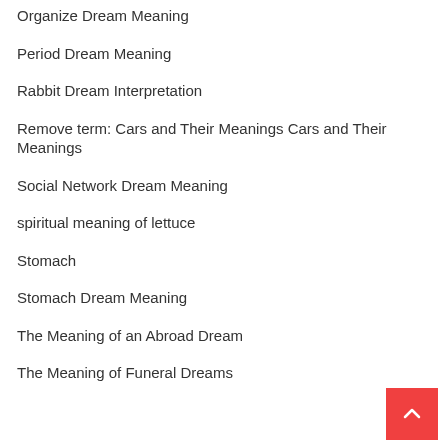Organize Dream Meaning
Period Dream Meaning
Rabbit Dream Interpretation
Remove term: Cars and Their Meanings Cars and Their Meanings
Social Network Dream Meaning
spiritual meaning of lettuce
Stomach
Stomach Dream Meaning
The Meaning of an Abroad Dream
The Meaning of Funeral Dreams